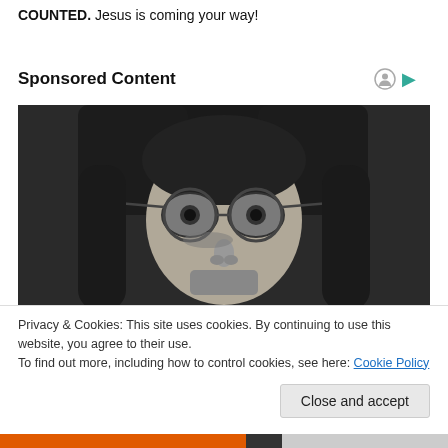COUNTED. Jesus is coming your way!
Sponsored Content
[Figure (photo): Close-up black and white portrait of a young man with long hair and round glasses, looking intensely at the camera. He has a beard stubble.]
Privacy & Cookies: This site uses cookies. By continuing to use this website, you agree to their use.
To find out more, including how to control cookies, see here: Cookie Policy